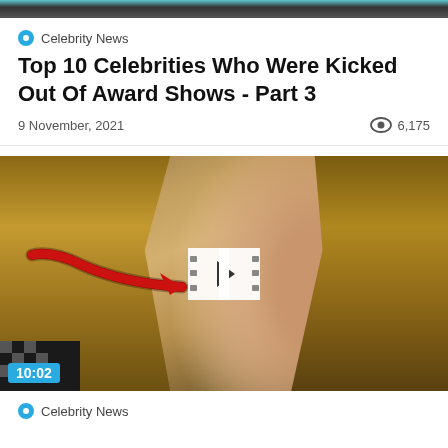[Figure (photo): Top image strip showing partial photo at top of page]
Celebrity News
Top 10 Celebrities Who Were Kicked Out Of Award Shows - Part 3
9 November, 2021   👁 6,175
[Figure (photo): Video thumbnail showing a woman with long blonde hair with a red arrow pointing to her face, and a film strip play button overlay. Duration: 10:02]
Celebrity News